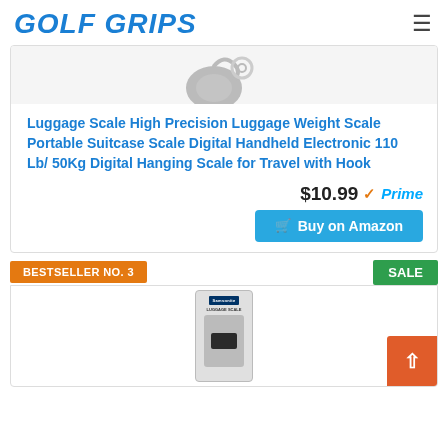GOLF GRIPS
[Figure (photo): Partial product image of luggage scale showing hooks and metal components at top of card]
Luggage Scale High Precision Luggage Weight Scale Portable Suitcase Scale Digital Handheld Electronic 110 Lb/ 50Kg Digital Hanging Scale for Travel with Hook
$10.99 Prime
Buy on Amazon
BESTSELLER NO. 3
SALE
[Figure (photo): Samsonite luggage scale product image, partially visible at bottom of page]